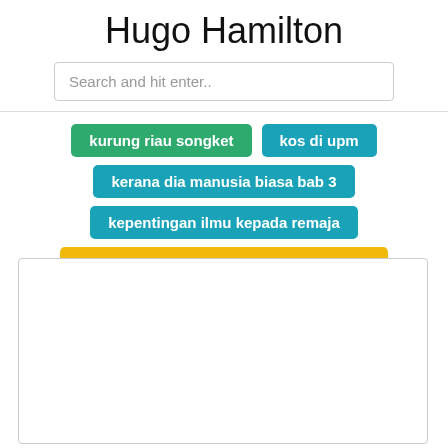Hugo Hamilton
Search and hit enter..
kurung riau songket
kos di upm
kerana dia manusia biasa bab 3
kepentingan ilmu kepada remaja
knack und back broetchen rezepte suess
[Figure (other): Empty white content box with border]